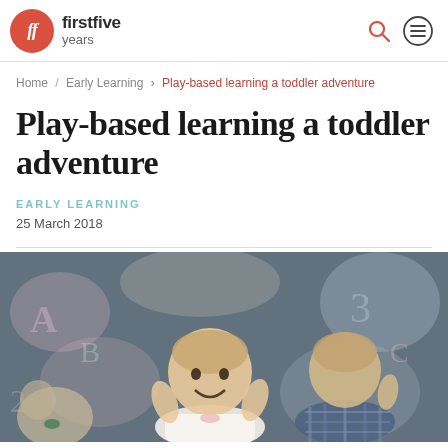firstfive years
Home / Early Learning > Play-based learning a toddler adventure
Play-based learning a toddler adventure
EARLY LEARNING
25 March 2018
[Figure (photo): A smiling toddler in a white dress with a bow, and another child in a plaid shirt, in front of a colourful chalkboard background with toys.]